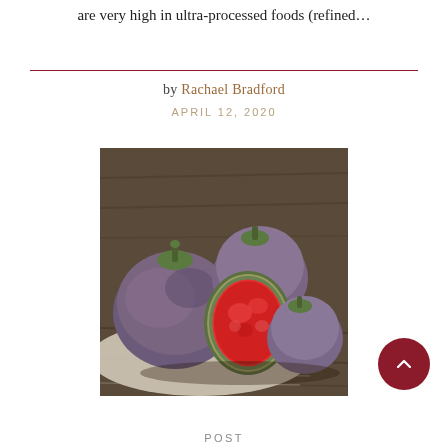are very high in ultra-processed foods (refined...
by Rachael Bradford
APRIL 12, 2020
[Figure (photo): Photograph of fresh figs on a rustic wooden surface with a linen cloth. Several whole figs and one fig cut in half revealing bright red interior.]
POST